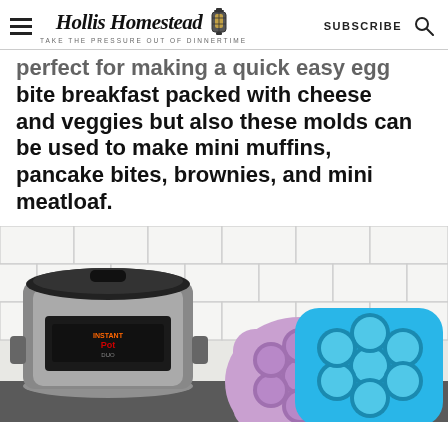Hollis Homestead — TAKE THE PRESSURE OUT OF DINNERTIME — SUBSCRIBE
perfect for making a quick easy egg bite breakfast packed with cheese and veggies but also these molds can be used to make mini muffins, pancake bites, brownies, and mini meatloaf.
[Figure (photo): An Instant Pot pressure cooker on a kitchen counter with white subway tile backsplash, alongside a lavender/purple silicone egg bite mold and a blue silicone egg bite mold with 7 round cavities each.]